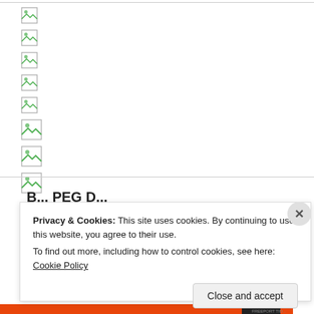[Figure (other): Eight broken/missing image icons arranged vertically on the left side of the page]
[Figure (other): Cookie consent overlay banner with close button (X), privacy notice text, Cookie Policy link, and Close and accept button]
Privacy & Cookies: This site uses cookies. By continuing to use this website, you agree to their use. To find out more, including how to control cookies, see here: Cookie Policy
Close and accept